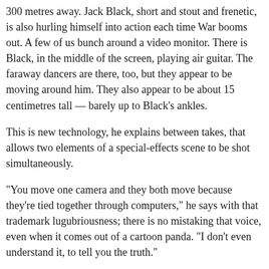300 metres away. Jack Black, short and stout and frenetic, is also hurling himself into action each time War booms out. A few of us bunch around a video monitor. There is Black, in the middle of the screen, playing air guitar. The faraway dancers are there, too, but they appear to be moving around him. They also appear to be about 15 centimetres tall — barely up to Black's ankles.
This is new technology, he explains between takes, that allows two elements of a special-effects scene to be shot simultaneously.
"You move one camera and they both move because they're tied together through computers," he says with that trademark lugubriousness; there is no mistaking that voice, even when it comes out of a cartoon panda. "I don't even understand it, to tell you the truth."
Jonathan Swift himself might have trouble recognising this Gulliver. Under Black's guiding hand, the intrepid 18th-century traveller has been transformed into a 21st-century tubby slacker of the kind that has become Black's trademark. Lemuel Gulliver is a disgruntled mail-room assistant at a big New York newspaper and, again true to Black's